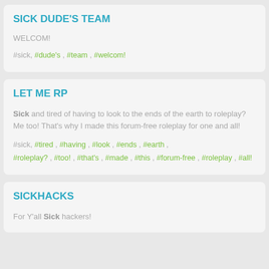SICK DUDE'S TEAM
WELCOM!
#sick, #dude's , #team , #welcom!
LET ME RP
Sick and tired of having to look to the ends of the earth to roleplay? Me too! That's why I made this forum-free roleplay for one and all!
#sick, #tired , #having , #look , #ends , #earth , #roleplay? , #too! , #that's , #made , #this , #forum-free , #roleplay , #all!
SICKHACKS
For Y'all Sick hackers!